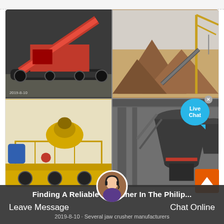[Figure (photo): Four-panel image grid showing industrial mining/crushing equipment: top-left shows a red mobile crusher/conveyor machine on tracks; top-right shows large piles of ore/aggregate with cranes; bottom-left shows a yellow cone crusher on a trailer; bottom-right shows gray industrial grinding mills in a factory.]
Live Chat
Finding A Reliable Crusher In The Philip...
Leave Message
Chat Online
2019-8-10 · Several jaw crusher manufacturers